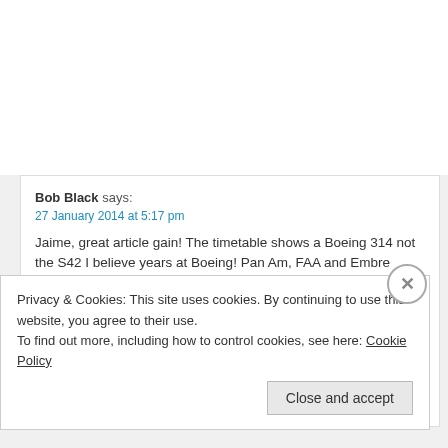Bob Black says:
27 January 2014 at 5:17 pm

Jaime, great article gain! The timetable shows a Boeing 314 not the S42 I believe years at Boeing! Pan Am, FAA and Embre Riddle one gets that way. Tnx again. B
Reply
Jamie Baldwin says:
27 January 2014 at 6:25 pm

Thanks, Bob!
Privacy & Cookies: This site uses cookies. By continuing to use this website, you agree to their use.
To find out more, including how to control cookies, see here: Cookie Policy
Close and accept